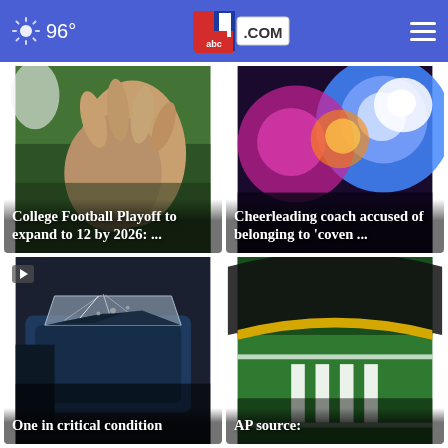96° abc4.com
[Figure (photo): Close-up of a hand gripping an American football on grass]
College Football Playoff to expand to 12 by 2026: ...
[Figure (photo): Police lights — red, blue, white flashing lights at night]
Cheerleading coach accused of belonging to 'coven ...
[Figure (photo): Crashed car with smashed windshield and damaged hood]
One in critical condition
[Figure (photo): Aerial view of end zone of a football field with white markings on green turf]
AP source: